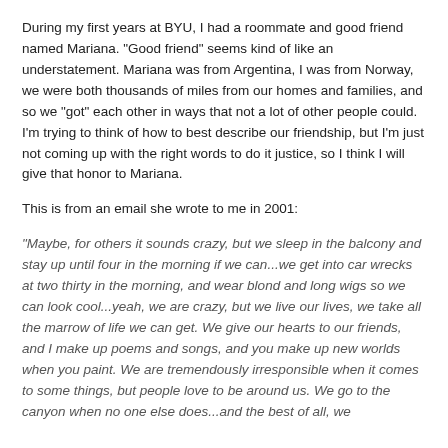During my first years at BYU, I had a roommate and good friend named Mariana. "Good friend" seems kind of like an understatement. Mariana was from Argentina, I was from Norway, we were both thousands of miles from our homes and families, and so we "got" each other in ways that not a lot of other people could. I'm trying to think of how to best describe our friendship, but I'm just not coming up with the right words to do it justice, so I think I will give that honor to Mariana.
This is from an email she wrote to me in 2001:
"Maybe, for others it sounds crazy, but we sleep in the balcony and stay up until four in the morning if we can...we get into car wrecks at two thirty in the morning, and wear blond and long wigs so we can look cool...yeah, we are crazy, but we live our lives, we take all the marrow of life we can get. We give our hearts to our friends, and I make up poems and songs, and you make up new worlds when you paint. We are tremendously irresponsible when it comes to some things, but people love to be around us. We go to the canyon when no one else does...and the best of all, we...